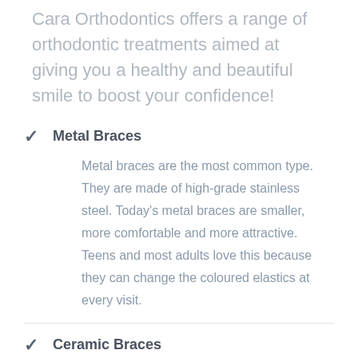Cara Orthodontics offers a range of orthodontic treatments aimed at giving you a healthy and beautiful smile to boost your confidence!
Metal Braces — Metal braces are the most common type. They are made of high-grade stainless steel. Today's metal braces are smaller, more comfortable and more attractive. Teens and most adults love this because they can change the coloured elastics at every visit.
Ceramic Braces